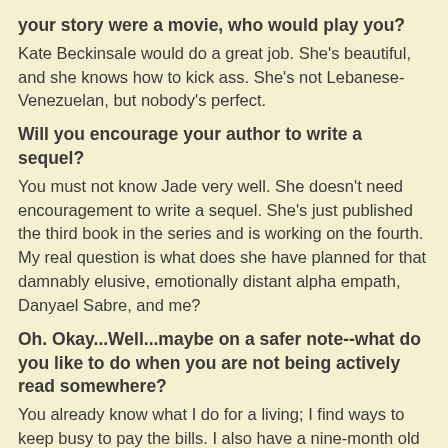your story were a movie, who would play you?
Kate Beckinsale would do a great job. She's beautiful, and she knows how to kick ass. She's not Lebanese-Venezuelan, but nobody's perfect.
Will you encourage your author to write a sequel?
You must not know Jade very well. She doesn't need encouragement to write a sequel. She's just published the third book in the series and is working on the fourth. My real question is what does she have planned for that damnably elusive, emotionally distant alpha empath, Danyael Sabre, and me?
Oh. Okay...Well...maybe on a safer note--what do you like to do when you are not being actively read somewhere?
You already know what I do for a living; I find ways to keep busy to pay the bills. I also have a nine-month old daughter, Laura. She's learning her alphabet by reading Dr. Seuss and gun catalogs.